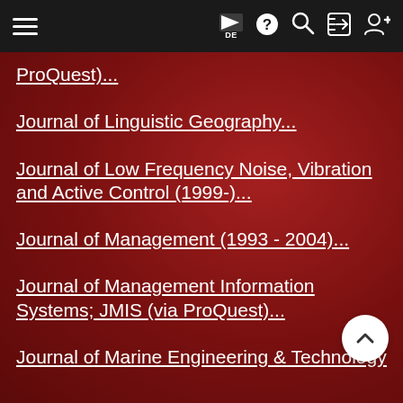≡  DE  ?  🔍  →  👤+
ProQuest)...
Journal of Linguistic Geography...
Journal of Low Frequency Noise, Vibration and Active Control (1999-)...
Journal of Management (1993 - 2004)...
Journal of Management Information Systems; JMIS (via ProQuest)...
Journal of Marine Engineering & Technology